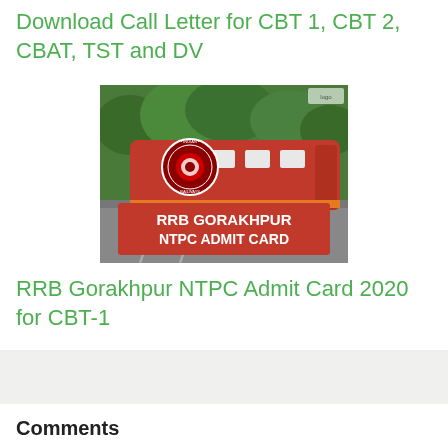Download Call Letter for CBT 1, CBT 2, CBAT, TST and DV
[Figure (photo): Photo of a red Indian Railways train with RRB Gorakhpur NTPC Admit Card text overlay and Indian Railways circular logo]
RRB Gorakhpur NTPC Admit Card 2020 for CBT-1
Comments